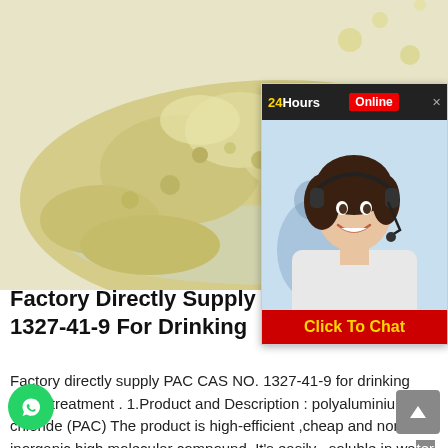[Figure (photo): Close-up photo of yellow-green powder (polyaluminium chloride / PAC) in a glass dish]
[Figure (infographic): 24Hours Online chat widget overlay with a photo of a smiling female customer service agent wearing a headset, and a red 'Click To Chat' button]
Factory Directly Supply PAC CAS NO. 1327-41-9 For Drinking
Factory directly supply PAC CAS NO. 1327-41-9 for drinking water treatment . 1.Product and Description : polyaluminium chloride (PAC) The product is high-efficient ,cheap and nontoxic inorganic high molecular compound .It's easily . soluble in water .in the hydrolytic process ,it is accompanied with the